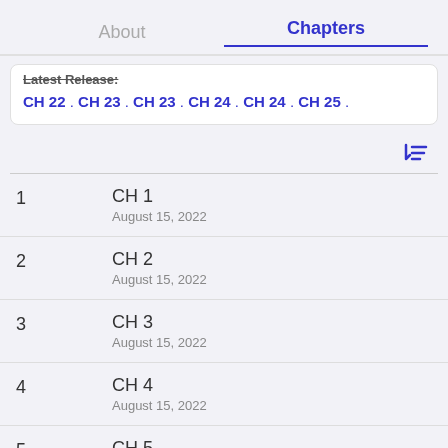About   Chapters
Latest Release: CH 22 . CH 23 . CH 23 . CH 24 . CH 24 . CH 25 .
1  CH 1  August 15, 2022
2  CH 2  August 15, 2022
3  CH 3  August 15, 2022
4  CH 4  August 15, 2022
5  CH 5